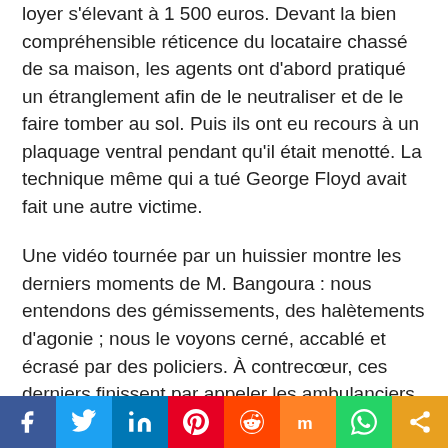loyer s'élevant à 1 500 euros. Devant la bien compréhensible réticence du locataire chassé de sa maison, les agents ont d'abord pratiqué un étranglement afin de le neutraliser et de le faire tomber au sol. Puis ils ont eu recours à un plaquage ventral pendant qu'il était menotté. La technique même qui a tué George Floyd avait fait une autre victime.

Une vidéo tournée par un huissier montre les derniers moments de M. Bangoura : nous entendons des gémissements, des halètements d'agonie ; nous le voyons cerné, accablé et écrasé par des policiers. À contrecœur, ces derniers finissent par appeler les ambulanciers à sa rescousse. Mais Lamine Bangoura avait déjà rendu son dernier souffle lorsqu'ils arrivaient.
Social share bar: Facebook, Twitter, LinkedIn, Pinterest, Reddit, Mix, WhatsApp, Share